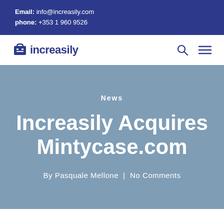Email: info@increasily.com
phone: +353 1 960 9526
[Figure (logo): Increasily logo with shopping cart icon]
News
Increasily Acquires Mintycase.com
By Pasquale Mellone | No Comments